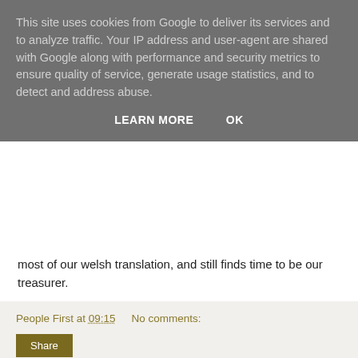This site uses cookies from Google to deliver its services and to analyze traffic. Your IP address and user-agent are shared with Google along with performance and security metrics to ensure quality of service, generate usage statistics, and to detect and address abuse.
LEARN MORE   OK
most of our welsh translation, and still finds time to be our treasurer.
People First at 09:15   No comments:
Share
‹
Home
›
View web version
Powered by Blogger.